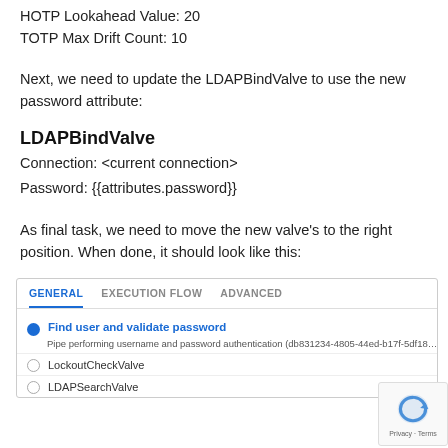HOTP Lookahead Value: 20
TOTP Max Drift Count: 10
Next, we need to update the LDAPBindValve to use the new password attribute:
LDAPBindValve
Connection: <current connection>
Password: {{attributes.password}}
As final task, we need to move the new valve's to the right position. When done, it should look like this:
[Figure (screenshot): UI screenshot showing tabs: GENERAL, EXECUTION FLOW, ADVANCED. Below tabs: a filled blue circle with 'Find user and validate password' in blue bold text. Below that: 'Pipe performing username and password authentication (db831234-4805-44ed-b17f-5df18...' in small grey text. Then two sub-rows with empty circles: 'LockoutCheckValve' and 'LDAPSearchValve'.]